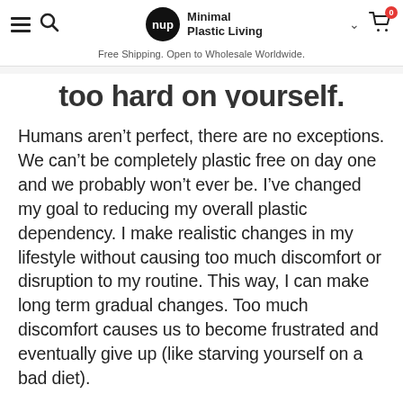nup Minimal Plastic Living | Free Shipping. Open to Wholesale Worldwide.
too hard on yourself.
Humans aren't perfect, there are no exceptions. We can't be completely plastic free on day one and we probably won't ever be. I've changed my goal to reducing my overall plastic dependency. I make realistic changes in my lifestyle without causing too much discomfort or disruption to my routine. This way, I can make long term gradual changes. Too much discomfort causes us to become frustrated and eventually give up (like starving yourself on a bad diet).